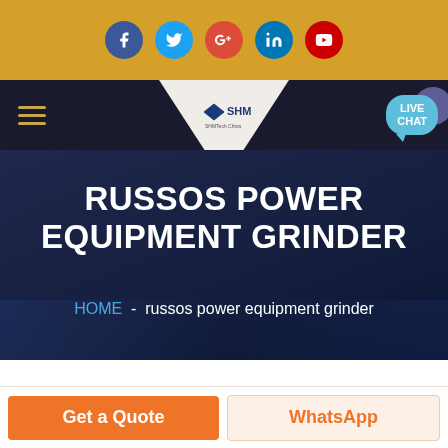[Figure (screenshot): Social media icon bar with Facebook, Twitter, Google+, LinkedIn, YouTube icons on golden/mustard background]
[Figure (screenshot): Navigation bar with hamburger menu, SHM logo triangle, and LIVE CHAT bubble on dark navy background]
RUSSOS POWER EQUIPMENT GRINDER
HOME - russos power equipment grinder
[Figure (photo): Partial view of industrial machinery/grinder equipment photo at bottom of hero section]
Get a Quote
WhatsApp